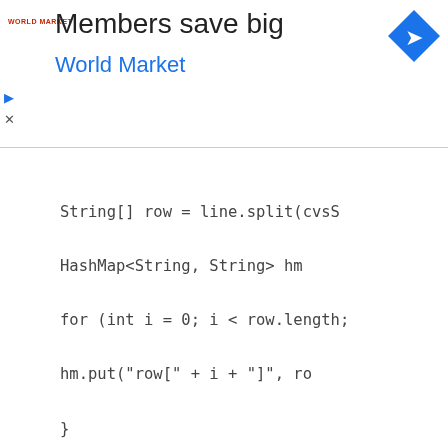[Figure (screenshot): Advertisement banner for World Market: 'Members save big' with World Market logo and navigation icon]
String[] row = line.split(cvsS
HashMap<String, String> hm
for (int i = 0; i < row.length;
    hm.put("row[" + i + "]", ro
}
CSVData.add(hm);
}
return CSVData;

}

}